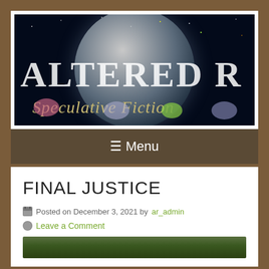[Figure (illustration): Website banner for 'Altered R...' showing a space scene with a large planet/Earth in the background, space with stars and small circular emblems, with bold white text 'ALTERED R' and italic gold text 'Speculative Fictio...']
☰ Menu
FINAL JUSTICE
Posted on December 3, 2021 by ar_admin
Leave a Comment
[Figure (photo): Partial photo at bottom of page showing trees/forest scenery]